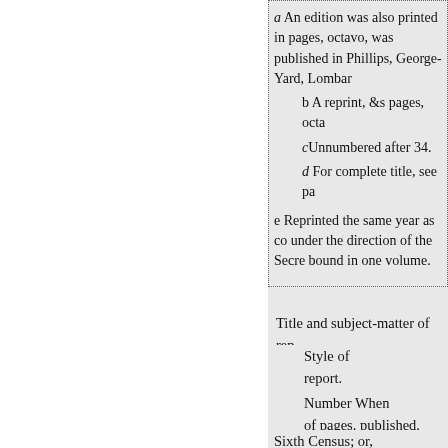a An edition was also printed in pages, octavo, was published in Phillips, George-Yard, Lombard
b A reprint, &s pages, octa
cUnnumbered after 34.
d For complete title, see pa
e Reprinted the same year as co under the direction of the Secre bound in one volume.
Title and subject-matter of rep
Style of
report.
Number
of pages.
When
published.
Sixth Census; or, enumeration of